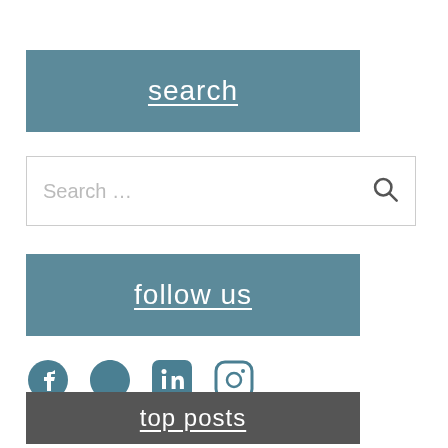search
Search …
follow us
[Figure (infographic): Social media icons: Facebook, Twitter, LinkedIn, Instagram]
top posts